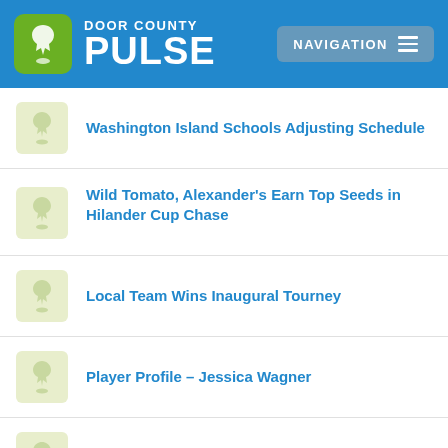Door County Pulse — Navigation
Washington Island Schools Adjusting Schedule
Wild Tomato, Alexander's Earn Top Seeds in Hilander Cup Chase
Local Team Wins Inaugural Tourney
Player Profile – Jessica Wagner
Becoming a Green Knight